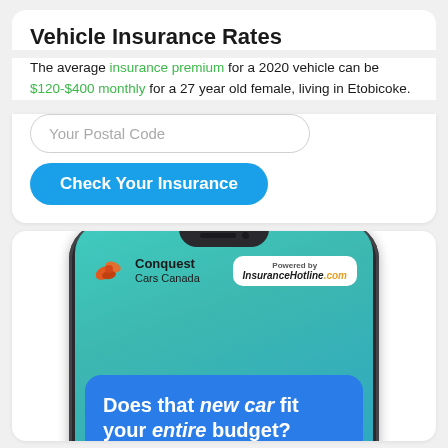Vehicle Insurance Rates
The average insurance premium for a 2020 vehicle can be $120-$400 monthly for a 27 year old female, living in Etobicoke.
[Figure (screenshot): Web widget with a postal code input field and a blue 'Check Your Insurance' button]
[Figure (screenshot): Phone mockup showing Conquest Cars Canada app screen powered by InsuranceHotline.com, with a blue promo box asking 'Does that new car fit your entire budget?']